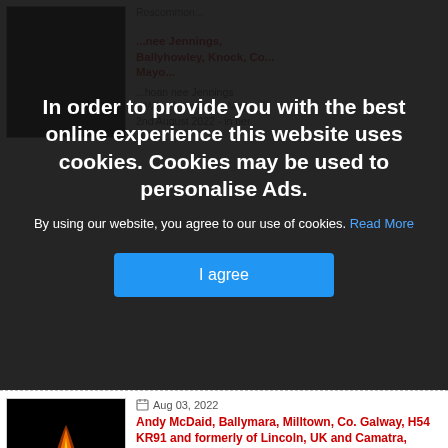[Figure (screenshot): Cookie consent overlay on a website showing obituary listings. Overlay contains bold white text about cookies policy and a blue 'I agree' button. Behind the overlay, partial obituary listings are visible including a candle flame image and red-linked obituary titles.]
In order to provide you with the best online experience this website uses cookies. Cookies may be used to personalise Ads.
By using our website, you agree to our use of cookies. Read More
I agree
Aug 03, 2022
Andy McDaid, Ballymara, Milltown, Co. Galway, H54 KR91 and formerly of Lincoln, UK and Camatra, Carndonagh, Donegal
Andy McDaid
Ballymara, Milltown, Co. Galway, H54 KR91 and formerly of Lincoln, UK and...
Aug 03, 2022